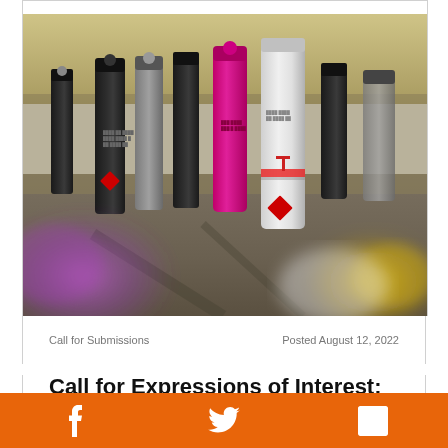[Figure (photo): Multiple spray paint cans arranged on a concrete/asphalt surface, photographed from a low angle. Cans are mostly black with some pink, white, and other colors. Blurred purple and yellow bokeh in foreground.]
Call for Submissions
Posted August 12, 2022
Call for Expressions of Interest: Culture
[Figure (other): Orange footer bar with white social media icons: Facebook (f), Twitter (bird), LinkedIn (in)]